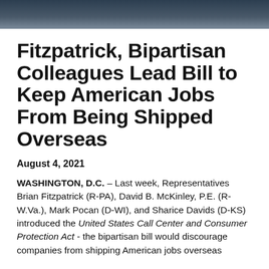[Figure (photo): Dark banner image at top of page, showing a blurred/dark background scene]
Fitzpatrick, Bipartisan Colleagues Lead Bill to Keep American Jobs From Being Shipped Overseas
August 4, 2021
WASHINGTON, D.C. – Last week, Representatives Brian Fitzpatrick (R-PA), David B. McKinley, P.E. (R-W.Va.), Mark Pocan (D-WI), and Sharice Davids (D-KS) introduced the United States Call Center and Consumer Protection Act - the bipartisan bill would discourage companies from shipping American jobs overseas